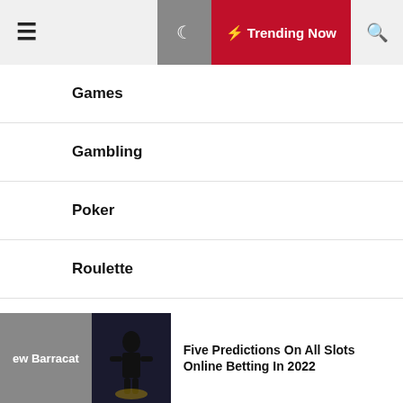☰  🌙  ⚡ Trending Now  🔍
Games
Gambling
Poker
Roulette
Blackjack
Spins & Slots
ew Barracat  |  Five Predictions On All Slots Online Betting In 2022